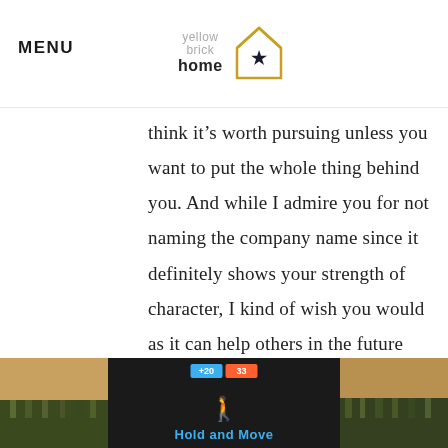MENU | yellow brick home
think it’s worth pursuing unless you want to put the whole thing behind you. And while I admire you for not naming the company name since it definitely shows your strength of character, I kind of wish you would as it can help others in the future know what they may be getting into with this company and again, helps hold them accountable for their service. I feel like you were very
[Figure (screenshot): Advertisement banner at bottom: 'Hold and Move' app ad with nature background images and close button]